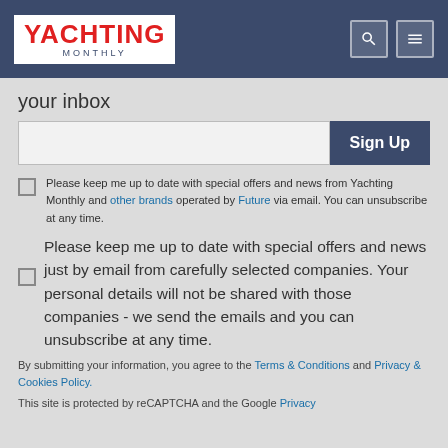YACHTING MONTHLY
your inbox
Sign Up
Please keep me up to date with special offers and news from Yachting Monthly and other brands operated by Future via email. You can unsubscribe at any time.
Please keep me up to date with special offers and news just by email from carefully selected companies. Your personal details will not be shared with those companies - we send the emails and you can unsubscribe at any time.
By submitting your information, you agree to the Terms & Conditions and Privacy & Cookies Policy.
This site is protected by reCAPTCHA and the Google Privacy